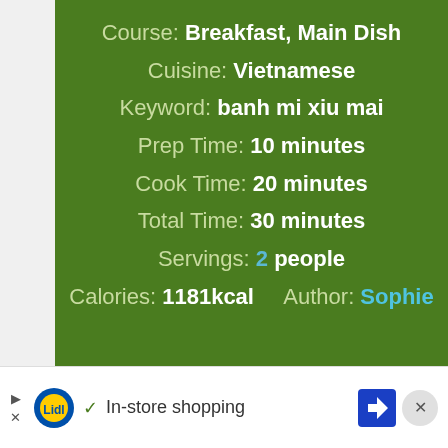Course: Breakfast, Main Dish
Cuisine: Vietnamese
Keyword: banh mi xiu mai
Prep Time: 10 minutes
Cook Time: 20 minutes
Total Time: 30 minutes
Servings: 2 people
Calories: 1181kcal   Author: Sophie
[Figure (screenshot): Advertisement banner for Lidl in-store shopping with navigation arrow icon]
In-store shopping